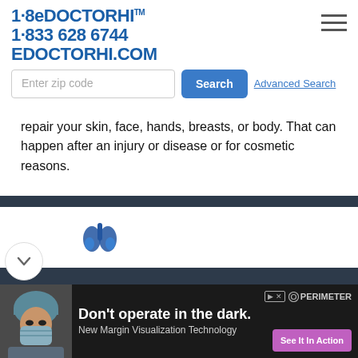1·8eDOCTORHI™ 1·833 628 6744 EDOCTORHI.COM
repair your skin, face, hands, breasts, or body. That can happen after an injury or disease or for cosmetic reasons.
[Figure (illustration): Blue lung icon illustration]
[Figure (photo): Doctor/surgeon in mask and surgical cap advertisement photo]
Don't operate in the dark. New Margin Visualization Technology